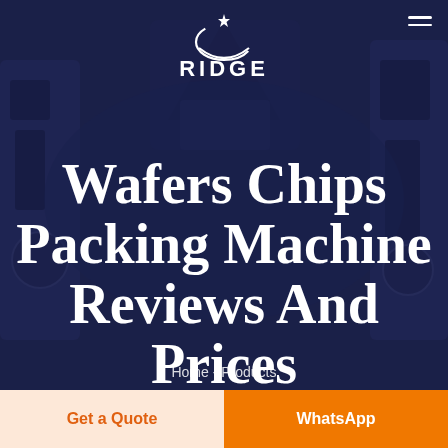[Figure (screenshot): Hero section of a packaging machinery website (RIDGE brand) showing industrial packing machines in a dark blue-overlaid background, with a large white serif title, breadcrumb navigation, and two CTA buttons at the bottom.]
RIDGE
Wafers Chips Packing Machine Reviews And Prices
Home - Products